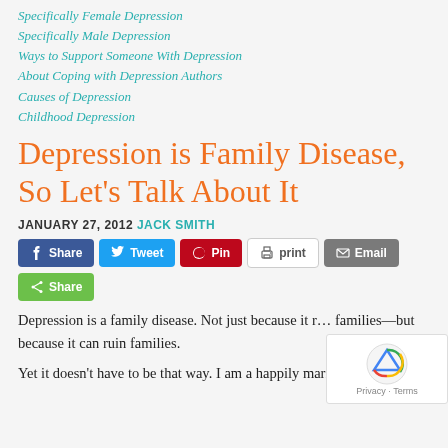Specifically Female Depression
Specifically Male Depression
Ways to Support Someone With Depression
About Coping with Depression Authors
Causes of Depression
Childhood Depression
Depression is Family Disease, So Let's Talk About It
JANUARY 27, 2012 JACK SMITH
Depression is a family disease. Not just because it r... families—but because it can ruin families.
Yet it doesn't have to be that way. I am a happily married